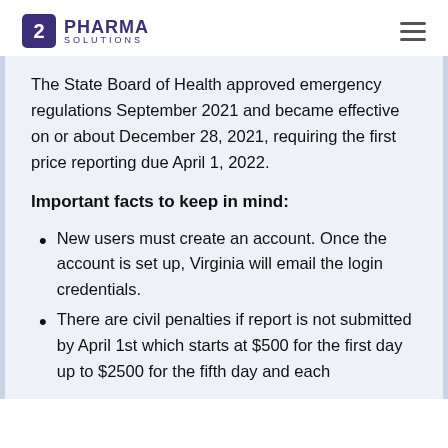PHARMA SOLUTIONS
The State Board of Health approved emergency regulations September 2021 and became effective on or about December 28, 2021, requiring the first price reporting due April 1, 2022.
Important facts to keep in mind:
New users must create an account. Once the account is set up, Virginia will email the login credentials.
There are civil penalties if report is not submitted by April 1st which starts at $500 for the first day up to $2500 for the fifth day and each